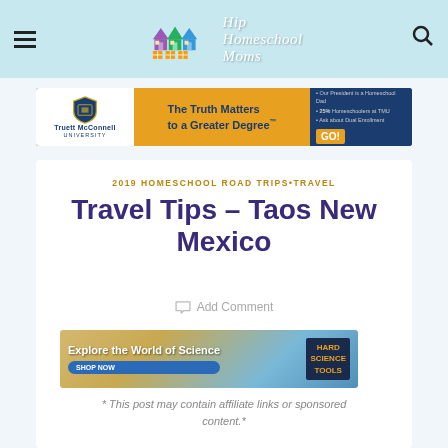Hip Homeschool Moms
[Figure (screenshot): Truett McConnell University advertisement banner: The Truth Matters to a Greater Degree. GO!]
2019 HOMESCHOOL ROAD TRIPS • TRAVEL
Travel Tips – Taos New Mexico
Add Comment
[Figure (screenshot): Hard Science Tools advertisement: Explore the World of Science with SHOP NOW button]
* This post may contain affiliate links or sponsored content.*